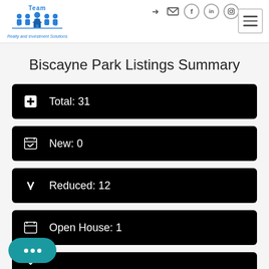[Figure (logo): Team Realty and Investment Solutions logo with blue house/people icons]
Biscayne Park Listings Summary
Total: 31
New: 0
Reduced: 12
Open House: 1